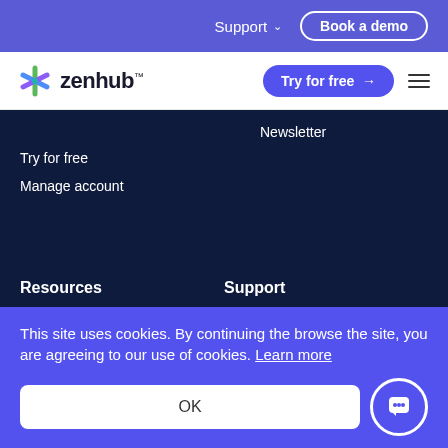Support  Book a demo
[Figure (logo): Zenhub logo with colorful snowflake icon and 'zenhub' wordmark]
Try for free →
Newsletter
Try for free
Manage account
Resources
Support
This site uses cookies. By continuing the browse the site, you are agreeing to our use of cookies. Learn more
OK